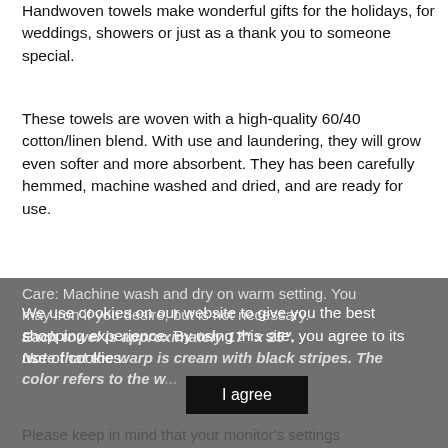Handwoven towels make wonderful gifts for the holidays, for weddings, showers or just as a thank you to someone special.
These towels are woven with a high-quality 60/40 cotton/linen blend. With use and laundering, they will grow even softer and more absorbent. They has been carefully hemmed, machine washed and dried, and are ready for use.
Care: Machine wash and dry on warm setting. You may iron if you desire, but is not necessary. Each towel is approximately 17" x 25". Note that the warp is cream with black stripes. The color refers to the w...
We use cookies on our website to give you the best shopping experience. By using this site, you agree to its use of cookies.
I agree
Please keep in mind that your monitor's settings...